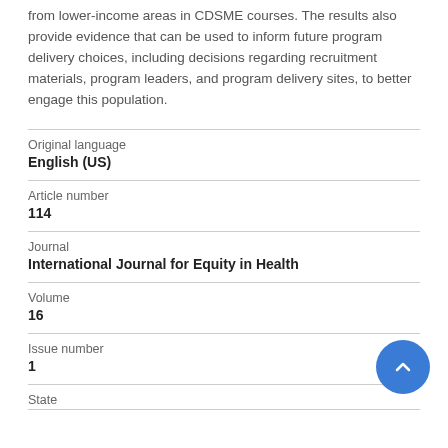from lower-income areas in CDSME courses. The results also provide evidence that can be used to inform future program delivery choices, including decisions regarding recruitment materials, program leaders, and program delivery sites, to better engage this population.
| Original language | English (US) |
| Article number | 114 |
| Journal | International Journal for Equity in Health |
| Volume | 16 |
| Issue number | 1 |
| State |  |